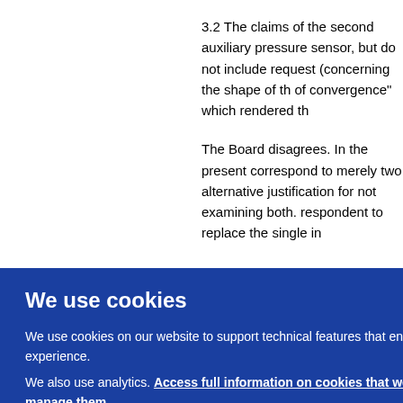3.2 The claims of the second auxili... pressure sensor, but do not include... request (concerning the shape of t... of convergence" which rendered th...
The Board disagrees. In the presen... correspond to merely two alternativ... justification for not examining both.... respondent to replace the single in...
ond a... t-mat... in C... The fo... laims... wn m... gains... f seve... egree... ent ca...
[Figure (screenshot): Cookie consent overlay banner with blue background. Title: 'We use cookies'. Body text: 'We use cookies on our website to support technical features that enhance your user experience. We also use analytics. Access full information on cookies that we use and how to manage them'. An OK button in white is positioned to the right.]